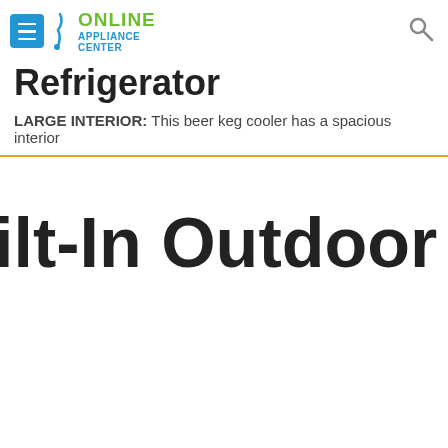ONLINE APPLIANCE CENTER
Refrigerator
LARGE INTERIOR: This beer keg cooler has a spacious interior
ilt-In Outdoor Keg